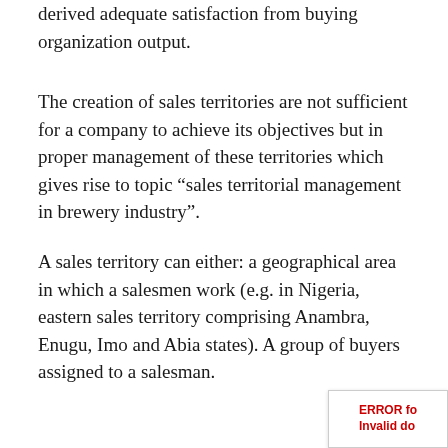manager, which is ensuring that customer derived adequate satisfaction from buying organization output.
The creation of sales territories are not sufficient for a company to achieve its objectives but in proper management of these territories which gives rise to topic “sales territorial management in brewery industry”.
A sales territory can either: a geographical area in which a salesmen work (e.g. in Nigeria, eastern sales territory comprising Anambra, Enugu, Imo and Abia states). A group of buyers assigned to a salesman.